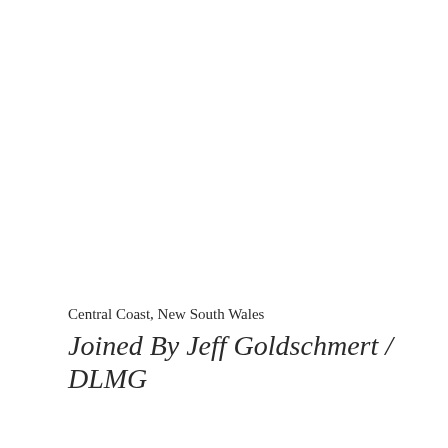Central Coast, New South Wales
Joined By Jeff Goldschmert / DLMG...